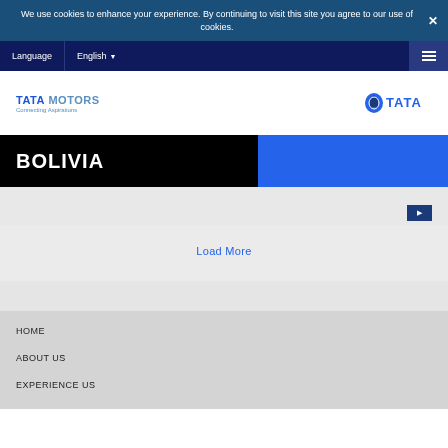We use cookies to enhance your experience. By continuing to visit this site you agree to our use of cookies.
Language  English
[Figure (logo): Tata Motors - Connecting Aspirations logo (left) and Tata group logo (right)]
BOLIVIA
Load More
HOME
ABOUT US
EXPERIENCE US